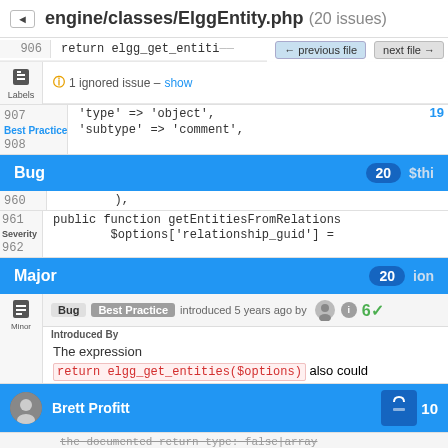engine/classes/ElggEntity.php (20 issues)
906    return elgg_get_entiti...
← previous file   next file →
ⓘ 1 ignored issue – show
Labels
907    'type' => 'object',
Best Practice   19
908    'subtype' => 'comment',
Bug   20   $thi
960    ),
961    public function getEntitiesFromRelations
Severity
962    $options['relationship_guid'] =
Major   20   ion
Minor
Bug Best Practice introduced 5 years ago by   6✓
Introduced By
The expression
return elgg_get_entities($options) also could
Brett Profitt   10
the documented return type: false|array
Jeroen Dalsem   4